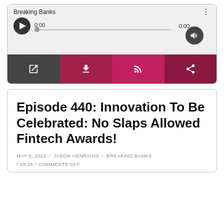[Figure (screenshot): Audio player widget showing 'Breaking Banks' podcast with play button, progress bar showing 0:00 / 0:00, volume button, and four action buttons (open, download, subscribe/RSS, share) in dark and pink/magenta colors.]
Episode 440: Innovation To Be Celebrated: No Slaps Allowed Fintech Awards!
MAY 5, 2022 / JASON HENRICHS / BREAKING BANKS / 28:34 / COMMENTS OFF